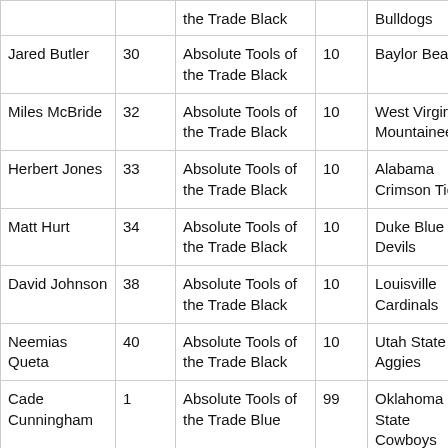|  |  | the Trade Black |  | Bulldogs |
| --- | --- | --- | --- | --- |
| Jared Butler | 30 | Absolute Tools of the Trade Black | 10 | Baylor Bears |
| Miles McBride | 32 | Absolute Tools of the Trade Black | 10 | West Virginia Mountaineers |
| Herbert Jones | 33 | Absolute Tools of the Trade Black | 10 | Alabama Crimson Tide |
| Matt Hurt | 34 | Absolute Tools of the Trade Black | 10 | Duke Blue Devils |
| David Johnson | 38 | Absolute Tools of the Trade Black | 10 | Louisville Cardinals |
| Neemias Queta | 40 | Absolute Tools of the Trade Black | 10 | Utah State Aggies |
| Cade Cunningham | 1 | Absolute Tools of the Trade Blue | 99 | Oklahoma State Cowboys |
| ... | ... | Absolute Tools of... | ... | UBC T... |